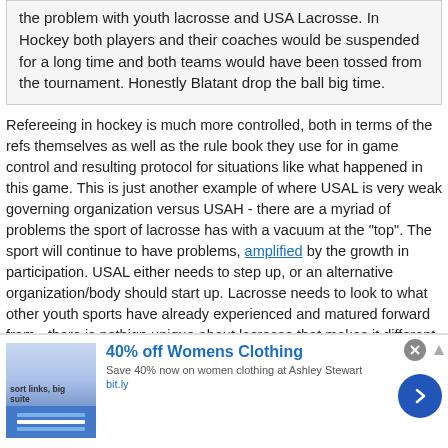the problem with youth lacrosse and USA Lacrosse. In Hockey both players and their coaches would be suspended for a long time and both teams would have been tossed from the tournament. Honestly Blatant drop the ball big time.
Refereeing in hockey is much more controlled, both in terms of the refs themselves as well as the rule book they use for in game control and resulting protocol for situations like what happened in this game. This is just another example of where USAL is very weak governing organization versus USAH - there are a myriad of problems the sport of lacrosse has with a vacuum at the "top". The sport will continue to have problems, amplified by the growth in participation. USAL either needs to step up, or an alternative organization/body should start up. Lacrosse needs to look to what other youth sports have already experienced and matured forward from - there is nothign unique about lacrosse that makes it different or immune from the issues other sports have already successfully dealt with.
[Figure (screenshot): Advertisement banner: 40% off Womens Clothing - Save 40% now on women clothing at Ashley Stewart, bit.ly]